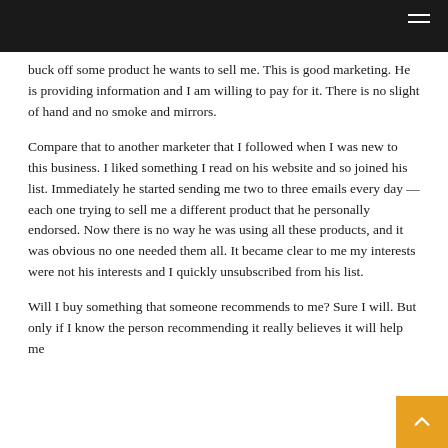buck off some product he wants to sell me. This is good marketing. He is providing information and I am willing to pay for it. There is no slight of hand and no smoke and mirrors.
Compare that to another marketer that I followed when I was new to this business. I liked something I read on his website and so joined his list. Immediately he started sending me two to three emails every day — each one trying to sell me a different product that he personally endorsed. Now there is no way he was using all these products, and it was obvious no one needed them all. It became clear to me my interests were not his interests and I quickly unsubscribed from his list.
Will I buy something that someone recommends to me? Sure I will. But only if I know the person recommending it really believes it will help me